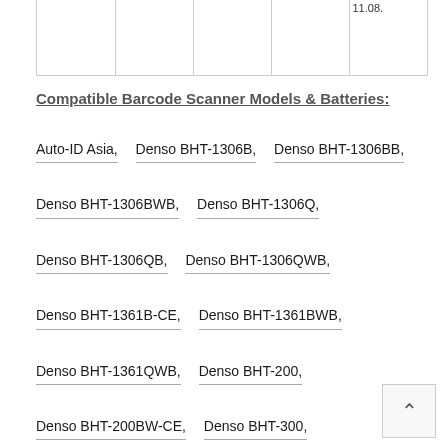|  |
Compatible Barcode Scanner Models & Batteries:
Auto-ID Asia,   Denso BHT-1306B,   Denso BHT-1306BB,
Denso BHT-1306BWB,   Denso BHT-1306Q,
Denso BHT-1306QB,   Denso BHT-1306QWB,
Denso BHT-1361B-CE,   Denso BHT-1361BWB,
Denso BHT-1361QWB,   Denso BHT-200,
Denso BHT-200BW-CE,   Denso BHT-300,
Denso BHT-300BW,   Denso BHT-300BW-CN,
Denso BHT-300Q,   Denso BHT-300QB,
Denso BHT-300QW,   Denso BHT-304QB,
Denso BHT-304QW,   Denso BHT-400,